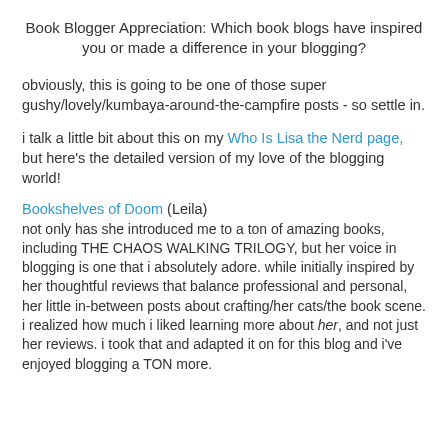Book Blogger Appreciation: Which book blogs have inspired you or made a difference in your blogging?
obviously, this is going to be one of those super gushy/lovely/kumbaya-around-the-campfire posts - so settle in.
i talk a little bit about this on my Who Is Lisa the Nerd page, but here's the detailed version of my love of the blogging world!
Bookshelves of Doom (Leila)
not only has she introduced me to a ton of amazing books, including THE CHAOS WALKING TRILOGY, but her voice in blogging is one that i absolutely adore. while initially inspired by her thoughtful reviews that balance professional and personal, her little in-between posts about crafting/her cats/the book scene. i realized how much i liked learning more about her, and not just her reviews. i took that and adapted it on for this blog and i've enjoyed blogging a TON more.